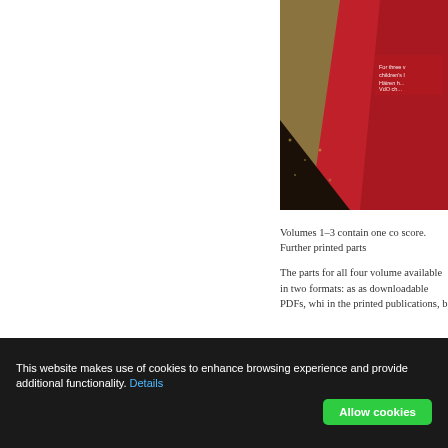[Figure (photo): Close-up photo of a red book/publication cover with white text and golden/textured background visible at bottom-left corner]
Volumes 1–3 contain one co score. Further printed parts
The parts for all four volume available in two formats: as as downloadable PDFs, whi in the printed publications, b
[Figure (photo): Close-up photo of red and dark/golden colored book covers with white text reading 'soos']
This website makes use of cookies to enhance browsing experience and provide additional functionality. Details
Allow cookies